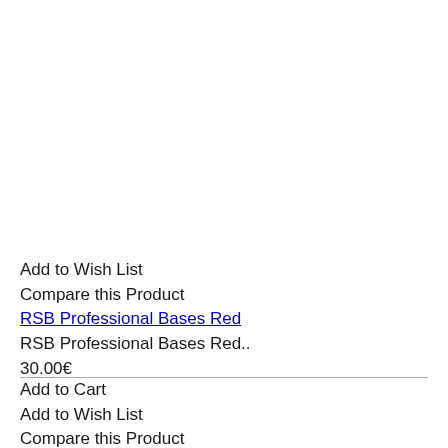Add to Wish List
Compare this Product
RSB Professional Bases Red
RSB Professional Bases Red..
30.00€
Add to Cart
Add to Wish List
Compare this Product